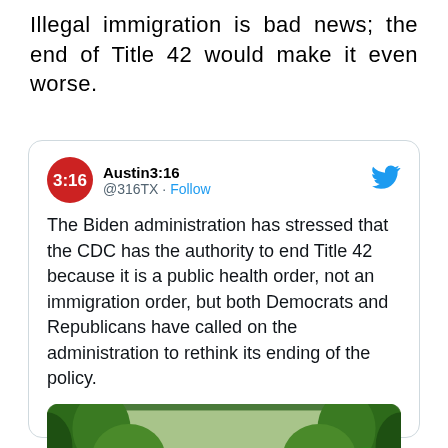Illegal immigration is bad news; the end of Title 42 would make it even worse.
[Figure (screenshot): Embedded tweet from Austin3:16 (@316TX) with Twitter bird icon. Tweet text: 'The Biden administration has stressed that the CDC has the authority to end Title 42 because it is a public health order, not an immigration order, but both Democrats and Republicans have called on the administration to rethink its ending of the policy.' Below the text is a photo of a large crowd of people on a road lined with tropical trees.]